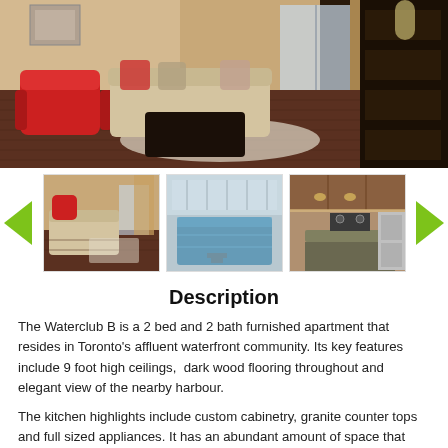[Figure (photo): Main large photo of a furnished living room with dark wood floors, red armchair, beige sofa, and curtained windows]
[Figure (photo): Thumbnail row with three apartment photos: living room, indoor pool, and kitchen. Green navigation arrows on left and right.]
Description
The Waterclub B is a 2 bed and 2 bath furnished apartment that resides in Toronto's affluent waterfront community. Its key features include 9 foot high ceilings,  dark wood flooring throughout and elegant view of the nearby harbour.
The kitchen highlights include custom cabinetry, granite counter tops and full sized appliances. It has an abundant amount of space that that makes preparing